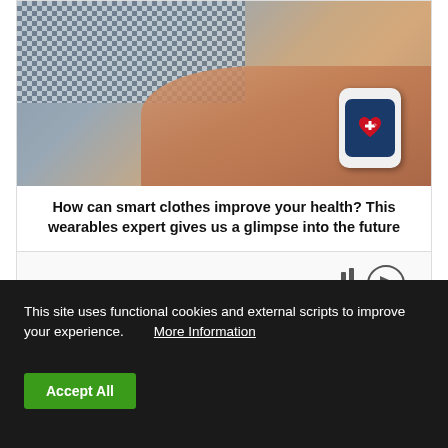[Figure (photo): A hand holding a smartwatch with a health/medical app showing a red heart with a white cross on a dark blue screen background, with checkered fabric clothing visible]
How can smart clothes improve your health? This wearables expert gives us a glimpse into the future
[Figure (screenshot): Partial view of a second article card showing audio/playback icons]
This site uses functional cookies and external scripts to improve your experience. More Information